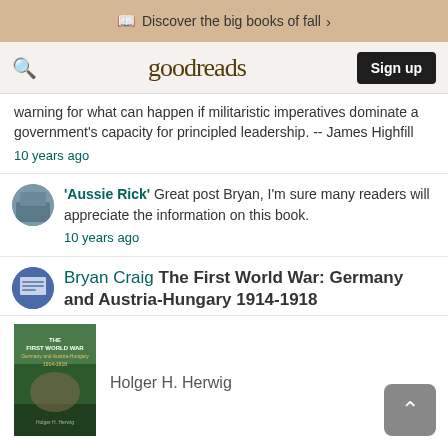Discover the big books of fall >
goodreads  Sign up
warning for what can happen if militaristic imperatives dominate a government's capacity for principled leadership. -- James Highfill
10 years ago
'Aussie Rick' Great post Bryan, I'm sure many readers will appreciate the information on this book.
10 years ago
Bryan Craig The First World War: Germany and Austria-Hungary 1914-1918
[Figure (illustration): Book cover of The First World War: Germany and Austria-Hungary 1914-1918 by Holger H. Herwig, green cover with wartime imagery]
Holger H. Herwig
Synopsis